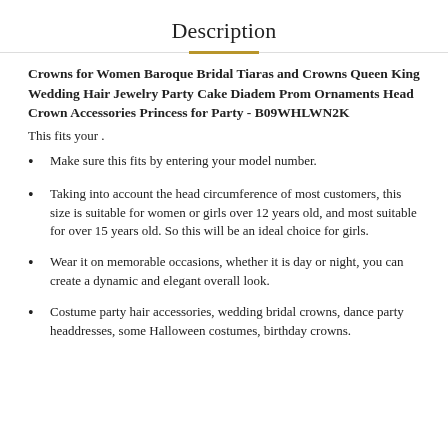Description
Crowns for Women Baroque Bridal Tiaras and Crowns Queen King Wedding Hair Jewelry Party Cake Diadem Prom Ornaments Head Crown Accessories Princess for Party - B09WHLWN2K
This fits your .
Make sure this fits by entering your model number.
Taking into account the head circumference of most customers, this size is suitable for women or girls over 12 years old, and most suitable for over 15 years old. So this will be an ideal choice for girls.
Wear it on memorable occasions, whether it is day or night, you can create a dynamic and elegant overall look.
Costume party hair accessories, wedding bridal crowns, dance party headdresses, some Halloween costumes, birthday crowns.